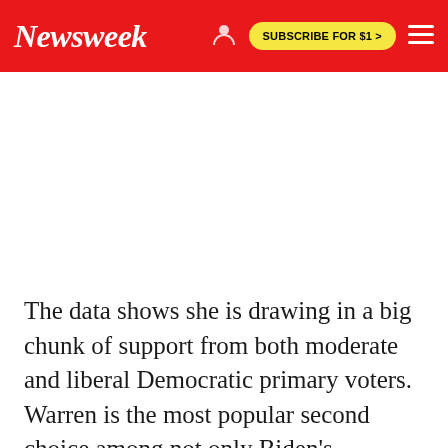Newsweek | SUBSCRIBE FOR $1 >
[Figure (other): Empty white advertisement area below Newsweek header navigation bar]
The data shows she is drawing in a big chunk of support from both moderate and liberal Democratic primary voters. Warren is the most popular second choice among not only Biden's